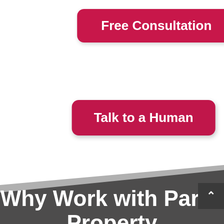Free Consultation
Talk to a Human
[Figure (illustration): Diagonal dark gray angled banner/chevron shape transitioning from white background above to dark gray section below]
Why Work with Parks Property Management?